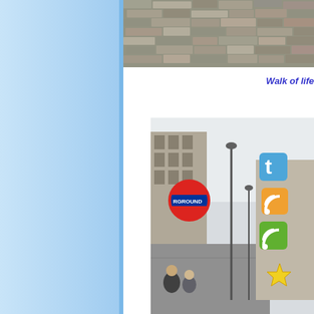[Figure (photo): Light blue sidebar panel on the left side of the page]
[Figure (photo): Close-up photo of cobblestone pavement, gray and beige stones]
Walk of life
[Figure (photo): Street scene in London showing the Underground sign (RGROUND visible), tall buildings, street lamps, pedestrians, and social media icons (Twitter, RSS, star) overlaid on the right side]